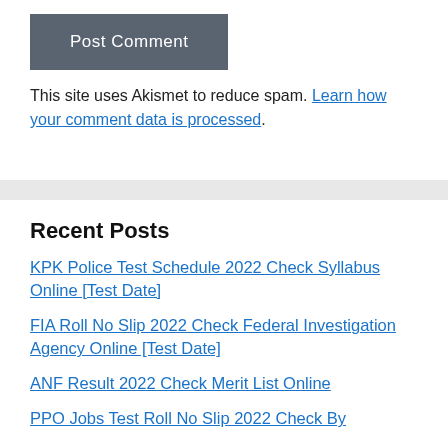Post Comment
This site uses Akismet to reduce spam. Learn how your comment data is processed.
Recent Posts
KPK Police Test Schedule 2022 Check Syllabus Online [Test Date]
FIA Roll No Slip 2022 Check Federal Investigation Agency Online [Test Date]
ANF Result 2022 Check Merit List Online
PPO Jobs Test Roll No Slip 2022 Check By